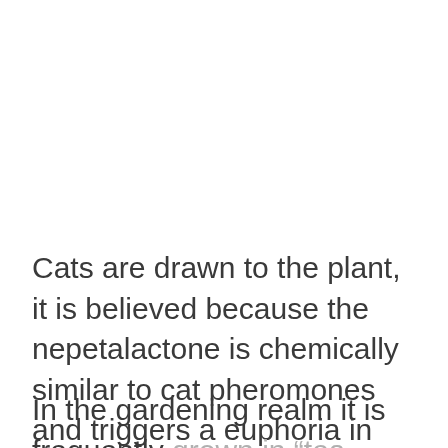Cats are drawn to the plant, it is believed because the nepetalactone is chemically similar to cat pheromones and triggers a euphoria in felines.
In the gardening realm it is frequently grown in “tea-gardens” or paired up with up other plants for its qualities as